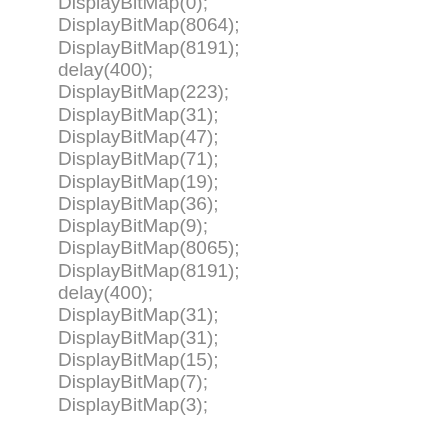DisplayBitMap(0);
DisplayBitMap(8064);
DisplayBitMap(8191);
delay(400);
DisplayBitMap(223);
DisplayBitMap(31);
DisplayBitMap(47);
DisplayBitMap(71);
DisplayBitMap(19);
DisplayBitMap(36);
DisplayBitMap(9);
DisplayBitMap(8065);
DisplayBitMap(8191);
delay(400);
DisplayBitMap(31);
DisplayBitMap(31);
DisplayBitMap(15);
DisplayBitMap(7);
DisplayBitMap(3);